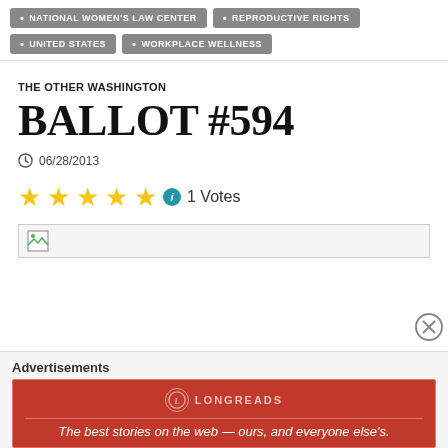NATIONAL WOMEN'S LAW CENTER
REPRODUCTIVE RIGHTS
UNITED STATES
WORKPLACE WELLNESS
THE OTHER WASHINGTON
BALLOT #594
06/28/2013
1 Votes
[Figure (other): Broken image placeholder icon]
Advertisements
[Figure (other): Longreads advertisement banner: The best stories on the web — ours, and everyone else's.]